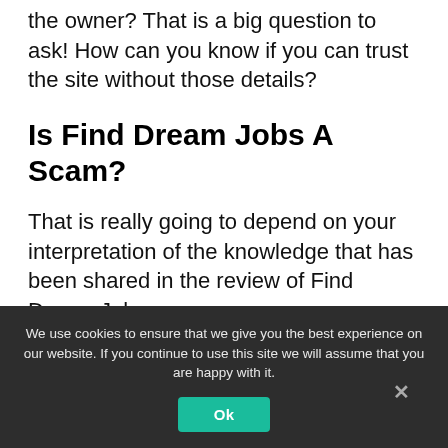the owner? That is a big question to ask! How can you know if you can trust the site without those details?
Is Find Dream Jobs A Scam?
That is really going to depend on your interpretation of the knowledge that has been shared in the review of Find Dream Jobs.
We use cookies to ensure that we give you the best experience on our website. If you continue to use this site we will assume that you are happy with it.
Ok